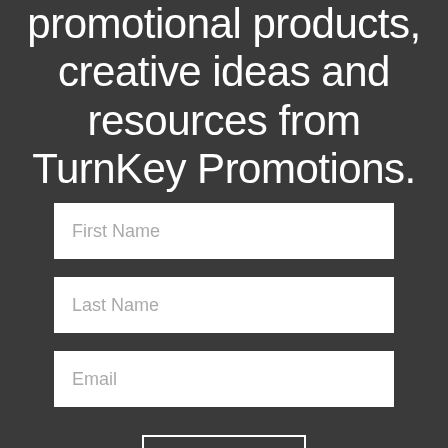promotional products, creative ideas and resources from TurnKey Promotions.
First Name
Last Name
Email
Sign up